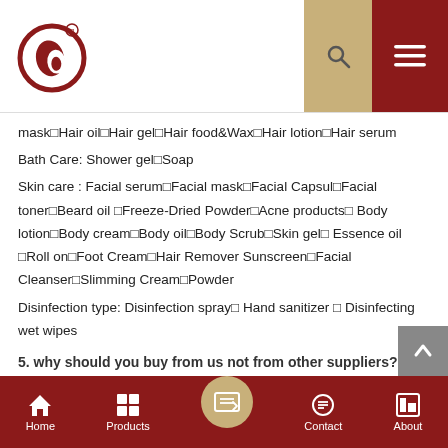Logo and navigation header
mask□Hair oil□Hair gel□Hair food&Wax□Hair lotion□Hair serum
Bath Care: Shower gel□Soap
Skin care : Facial serum□Facial mask□Facial Capsul□Facial toner□Beard oil □Freeze-Dried Powder□Acne products□Body lotion□Body cream□Body oil□Body Scrub□Skin gel□Essence oil □Roll on□Foot Cream□Hair Remover Sunscreen□Facial Cleanser□Slimming Cream□Powder
Disinfection type: Disinfection spray□ Hand sanitizer □ Disinfecting wet wipes
5. why should you buy from us not from other suppliers?
Home  Products  Contact  About